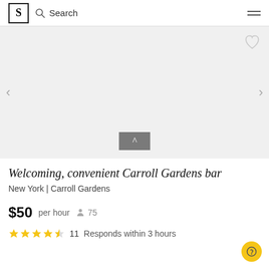S  Search
[Figure (photo): Gray placeholder image area for venue photo with left and right navigation arrows, a heart/favorite icon in the top right, and a gray venue badge with a caret symbol at the bottom center]
Welcoming, convenient Carroll Gardens bar
New York | Carroll Gardens
$50 per hour   75
★★★★★ 11   Responds within 3 hours